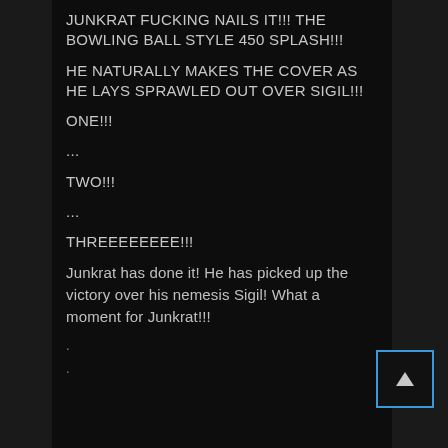JUNKRAT FUCKING NAILS IT!!! THE BOWLING BALL STYLE 450 SPLASH!!!
HE NATURALLY MAKES THE COVER AS HE LAYS SPRAWLED OUT OVER SIGIL!!!
ONE!!!
...
TWO!!!
...
THREEEEEEEE!!!
Junkrat has done it! He has picked up the victory over his nemesis Sigil! What a moment for Junkrat!!!
.
.